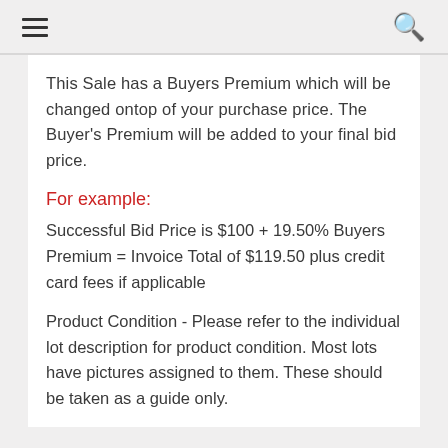≡  🔍
This Sale has a Buyers Premium which will be changed ontop of your purchase price. The Buyer's Premium will be added to your final bid price.
For example:
Successful Bid Price is $100 + 19.50% Buyers Premium = Invoice Total of $119.50 plus credit card fees if applicable
Product Condition - Please refer to the individual lot description for product condition. Most lots have pictures assigned to them. These should be taken as a guide only.